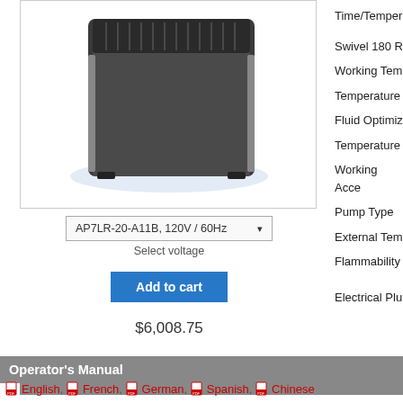[Figure (photo): Product photo of AP7LR-20 recirculating cooler unit, a dark gray/black boxy device with cooling grille on top]
AP7LR-20-A11B, 120V / 60Hz
Select voltage
Add to cart
$6,008.75
AP7LR-20
Time/Temper
Swivel 180 R
Working Tem
Temperature
Fluid Optimiz
Temperature
Working Acce
Pump Type
External Tem
Flammability
Electrical Plu
Operator's Manual
English, French, German, Spanish, Chinese